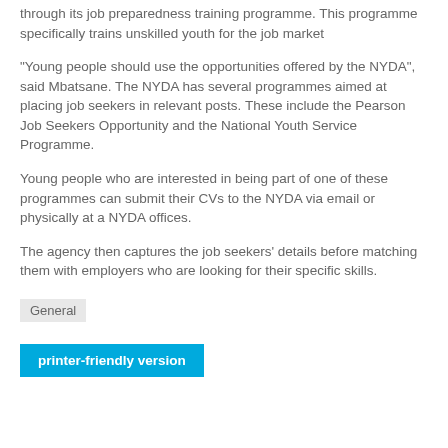through its job preparedness training programme. This programme specifically trains unskilled youth for the job market
"Young people should use the opportunities offered by the NYDA", said Mbatsane. The NYDA has several programmes aimed at placing job seekers in relevant posts. These include the Pearson Job Seekers Opportunity and the National Youth Service Programme.
Young people who are interested in being part of one of these programmes can submit their CVs to the NYDA via email or physically at a NYDA offices.
The agency then captures the job seekers' details before matching them with employers who are looking for their specific skills.
General
printer-friendly version